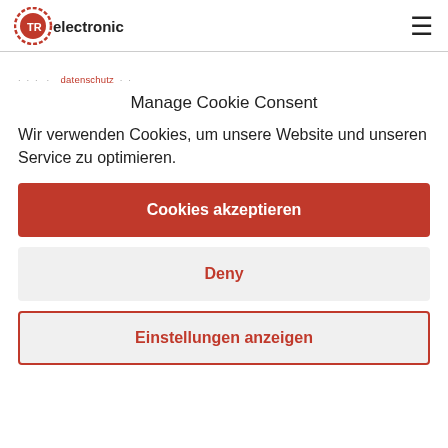[Figure (logo): TR Electronic logo with gear/encoder icon in red and black]
· · · · · · · · · datenschutz · · ·
Manage Cookie Consent
Wir verwenden Cookies, um unsere Website und unseren Service zu optimieren.
Cookies akzeptieren
Deny
Einstellungen anzeigen